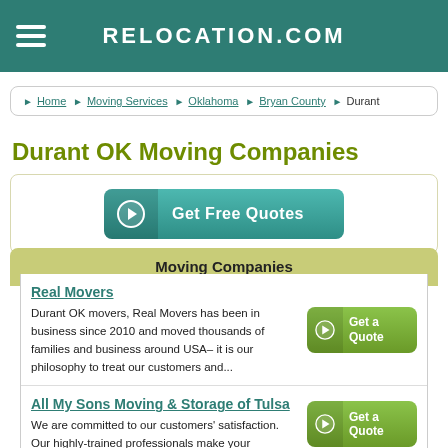RELOCATION.COM
Home › Moving Services › Oklahoma › Bryan County › Durant
Durant OK Moving Companies
[Figure (other): Get Free Quotes button with arrow icon]
Moving Companies
Real Movers
Durant OK movers, Real Movers has been in business since 2010 and moved thousands of families and business around USA– it is our philosophy to treat our customers and...
All My Sons Moving & Storage of Tulsa
We are committed to our customers' satisfaction. Our highly-trained professionals make your